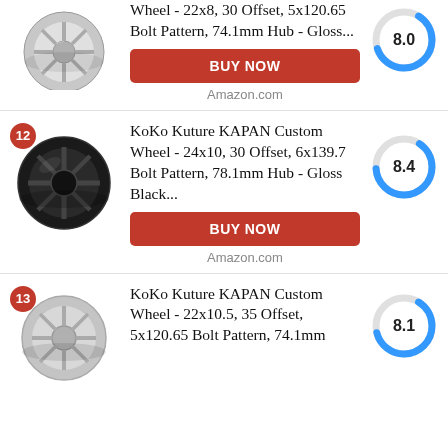[Figure (photo): Partial product card showing a chrome wheel image, truncated product title 'Wheel - 22x8, 30 Offset, 5x120.65 Bolt Pattern, 74.1mm Hub - Gloss...', BUY NOW button, and Amazon.com label, with a donut score gauge showing 8.0]
12 KoKo Kuture KAPAN Custom Wheel - 24x10, 30 Offset, 6x139.7 Bolt Pattern, 78.1mm Hub - Gloss Black... | Score: 8.4 | BUY NOW | Amazon.com
13 KoKo Kuture KAPAN Custom Wheel - 22x10.5, 35 Offset, 5x120.65 Bolt Pattern, 74.1mm | Score: 8.1